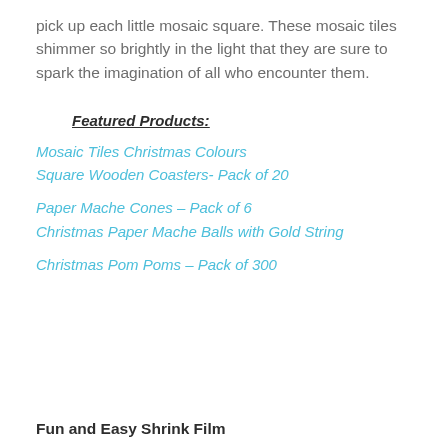pick up each little mosaic square. These mosaic tiles shimmer so brightly in the light that they are sure to spark the imagination of all who encounter them.
Featured Products:
Mosaic Tiles Christmas Colours
Square Wooden Coasters- Pack of 20
Paper Mache Cones – Pack of 6
Christmas Paper Mache Balls with Gold String
Christmas Pom Poms – Pack of 300
Fun and Easy Shrink Film